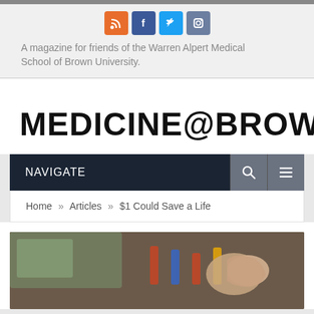[Figure (logo): Social media icons: RSS (orange), Facebook (blue), Twitter (light blue), Instagram (grey-blue)]
A magazine for friends of the Warren Alpert Medical School of Brown University.
MEDICINE@BROWN
NAVIGATE
Home » Articles » $1 Could Save a Life
[Figure (photo): A tattooed hand near syringes and medical supplies on a table]